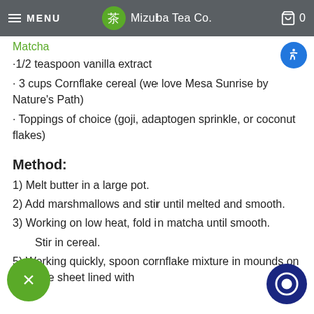MENU  茶 Mizuba Tea Co.  🛒 0
Matcha
·1/2 teaspoon vanilla extract
· 3 cups Cornflake cereal (we love Mesa Sunrise by Nature's Path)
· Toppings of choice (goji, adaptogen sprinkle, or coconut flakes)
Method:
1) Melt butter in a large pot.
2) Add marshmallows and stir until melted and smooth.
3) Working on low heat, fold in matcha until smooth.
4) Stir in cereal.
5) Working quickly, spoon cornflake mixture in mounds on a cookie sheet lined with